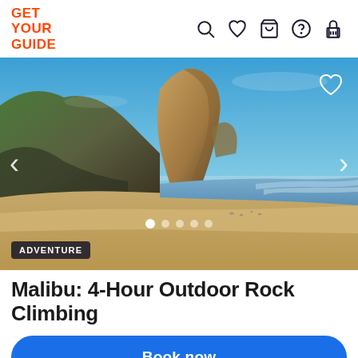GET YOUR GUIDE
[Figure (photo): Malibu beach scene with large rock formation, sandy beach, ocean waves, and clear blue sky. Navigation arrows on left and right sides, heart icon top right, dot indicators at bottom, ADVENTURE badge at bottom left.]
Malibu: 4-Hour Outdoor Rock Climbing
Book now